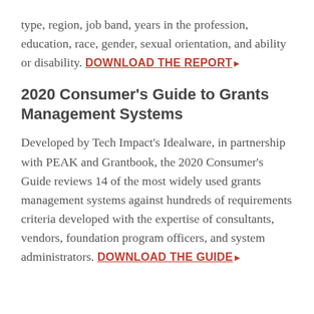type, region, job band, years in the profession, education, race, gender, sexual orientation, and ability or disability. DOWNLOAD THE REPORT ▶
2020 Consumer's Guide to Grants Management Systems
Developed by Tech Impact's Idealware, in partnership with PEAK and Grantbook, the 2020 Consumer's Guide reviews 14 of the most widely used grants management systems against hundreds of requirements criteria developed with the expertise of consultants, vendors, foundation program officers, and system administrators. DOWNLOAD THE GUIDE ▶